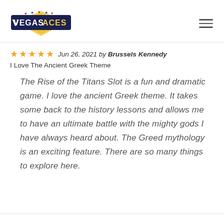[Figure (logo): Vegas Aces logo with playing card suits and gold diamond shape]
★★★★★ Jun 26, 2021 by Brussels Kennedy
I Love The Ancient Greek Theme
The Rise of the Titans Slot is a fun and dramatic game. I love the ancient Greek theme. It takes some back to the history lessons and allows me to have an ultimate battle with the mighty gods I have always heard about. The Greed mythology is an exciting feature. There are so many things to explore here.